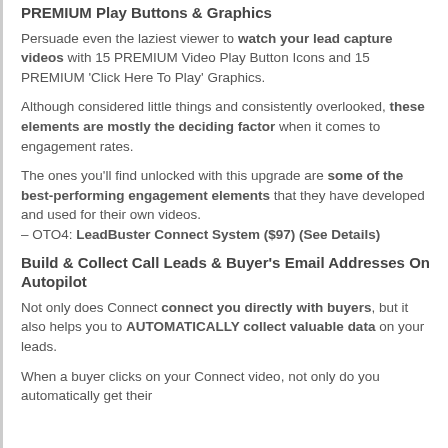PREMIUM Play Buttons & Graphics
Persuade even the laziest viewer to watch your lead capture videos with 15 PREMIUM Video Play Button Icons and 15 PREMIUM 'Click Here To Play' Graphics.
Although considered little things and consistently overlooked, these elements are mostly the deciding factor when it comes to engagement rates.
The ones you'll find unlocked with this upgrade are some of the best-performing engagement elements that they have developed and used for their own videos. – OTO4: LeadBuster Connect System ($97) (See Details)
Build & Collect Call Leads & Buyer's Email Addresses On Autopilot
Not only does Connect connect you directly with buyers, but it also helps you to AUTOMATICALLY collect valuable data on your leads.
When a buyer clicks on your Connect video, not only do you automatically get their